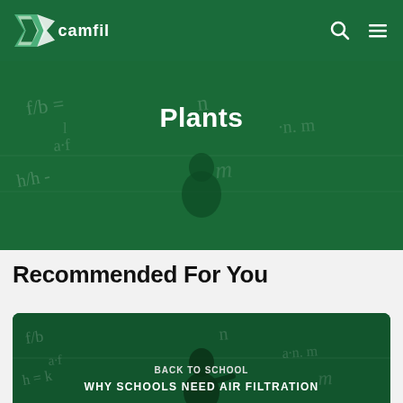camfil
Plants
Recommended For You
[Figure (photo): Card image showing a child in front of a chalkboard with green overlay, labeled 'BACK TO SCHOOL — WHY SCHOOLS NEED AIR FILTRATION']
BACK TO SCHOOL
WHY SCHOOLS NEED AIR FILTRATION